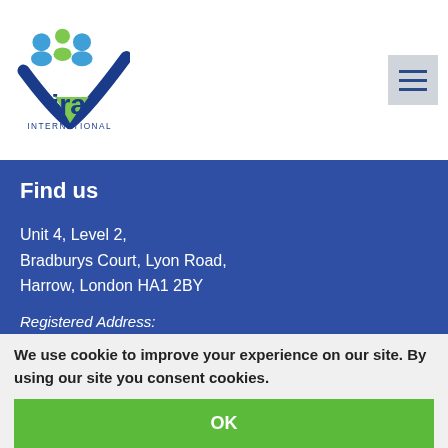[Figure (logo): Vira International logo with people icons and checkmark, blue and green colors]
Find us
Unit 4, Level 2,
Bradburys Court, Lyon Road,
Harrow, London HA1 2BY
Registered Address:
Unit 2, Forum House, Empire Way, Near Wembley Stadium Wembley Park, Middlesex HA9 0AB
INDIA : +91 224 972 1744
UK : +44 870 990 9007
(Calls will cost 3 pence per minute plus your telephone company's access
We use cookie to improve your experience on our site. By using our site you consent cookies.
OK